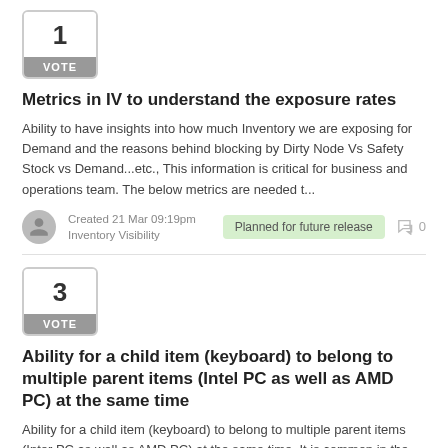[Figure (other): Vote box showing number 1 with VOTE button]
Metrics in IV to understand the exposure rates
Ability to have insights into how much Inventory we are exposing for Demand and the reasons behind blocking by Dirty Node Vs Safety Stock vs Demand...etc., This information is critical for business and operations team. The below metrics are needed t...
Created 21 Mar 09:19pm
Inventory Visibility
Planned for future release
0
[Figure (other): Vote box showing number 3 with VOTE button]
Ability for a child item (keyboard) to belong to multiple parent items (Intel PC as well as AMD PC) at the same time
Ability for a child item (keyboard) to belong to multiple parent items (Inter PC as well as AMD PC) at the same time. It is common in the retail world that a product is bundled as combos in multiple permutation and combinations. It means allowing...